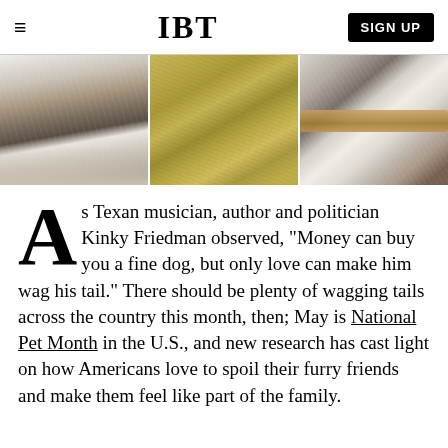IBT  SIGN UP
[Figure (photo): Three-panel photo strip showing: left panel with fluffy black-and-white animal legs/paws, center panel with dry golden grass/hay, right panel with black-and-white cat paws gripping a wooden rod.]
As Texan musician, author and politician Kinky Friedman observed, "Money can buy you a fine dog, but only love can make him wag his tail." There should be plenty of wagging tails across the country this month, then; May is National Pet Month in the U.S., and new research has cast light on how Americans love to spoil their furry friends and make them feel like part of the family.